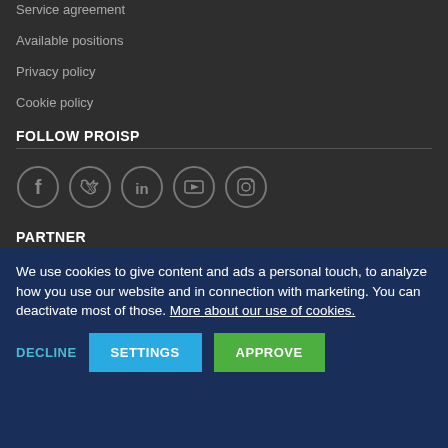Service agreement
Available positions
Privacy policy
Cookie policy
FOLLOW PROISP
[Figure (illustration): Five social media icons in circles: Facebook, Twitter, LinkedIn, YouTube, Instagram]
PARTNER
Become / other
CONTACT
We use cookies to give content and ads a personal touch, to analyze how you use our website and in connection with marketing. You can deactivate most of those. More about our use of cookies.
DECLINE  SETTINGS  APPROVE
Phone +47 21 61 29 79